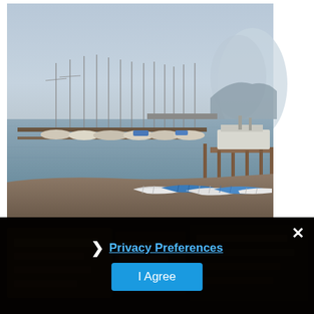[Figure (photo): Photograph of a marina/harbor on a foggy day. Numerous sailboats are moored at docks. A wooden pier extends to the right with a larger vessel docked. In the foreground, a sandy beach with kayaks or canoes (blue and white) lined up. Fog-covered hills visible in the background, gray-blue sky and calm water.]
[Figure (photo): Partially visible photo below, appears to be a dark interior or signage, obscured by the privacy overlay panel.]
Privacy Preferences
I Agree